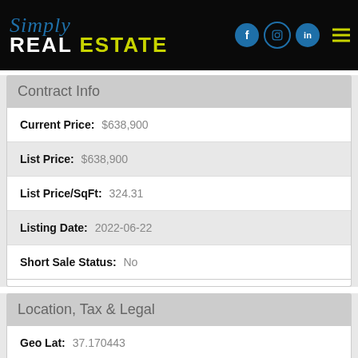Simply REAL ESTATE
Contract Info
Current Price: $638,900
List Price: $638,900
List Price/SqFt: 324.31
Listing Date: 2022-06-22
Short Sale Status: No
Location, Tax & Legal
Geo Lat: 37.170443
Geo Lon: -119.885858